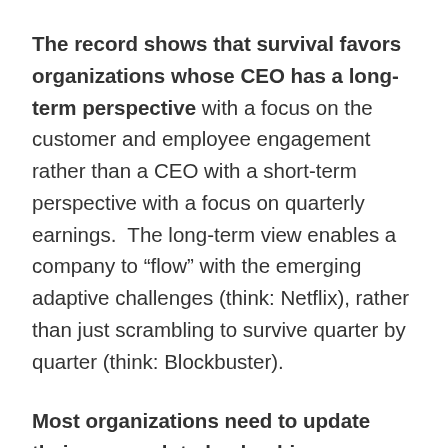The record shows that survival favors organizations whose CEO has a long-term perspective with a focus on the customer and employee engagement rather than a CEO with a short-term perspective with a focus on quarterly earnings.  The long-term view enables a company to “flow” with the emerging adaptive challenges (think: Netflix), rather than just scrambling to survive quarter by quarter (think: Blockbuster).
Most organizations need to update their approach to leadership development.  The prevalence of fatal adaptability gaps is clear evidence that our current leadership development methods are not as